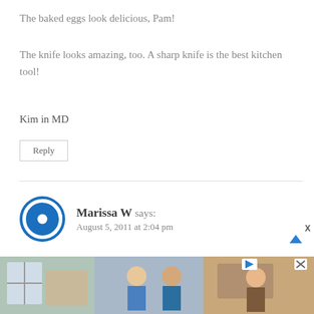The baked eggs look delicious, Pam!
The knife looks amazing, too. A sharp knife is the best kitchen tool!
Kim in MD
Reply
Marissa W says: August 5, 2011 at 2:04 pm
This knife looks awesome!
[Figure (photo): Advertisement banner with kitchen scenes showing people cooking]